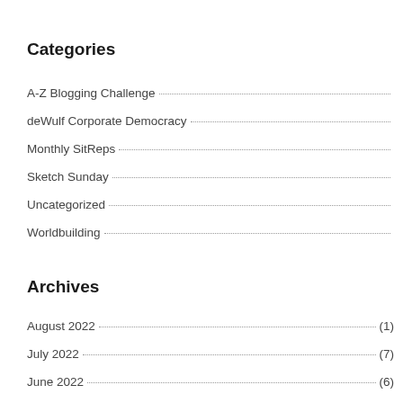Categories
A-Z Blogging Challenge
deWulf Corporate Democracy
Monthly SitReps
Sketch Sunday
Uncategorized
Worldbuilding
Archives
August 2022 (1)
July 2022 (7)
June 2022 (6)